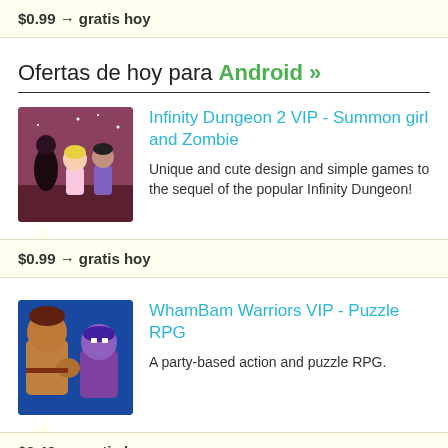$0.99 → gratis hoy
Ofertas de hoy para Android »
Infinity Dungeon 2 VIP - Summon girl and Zombie
Unique and cute design and simple games to the sequel of the popular Infinity Dungeon!
$0.99 → gratis hoy
WhamBam Warriors VIP - Puzzle RPG
A party-based action and puzzle RPG.
$3.49 → gratis hoy